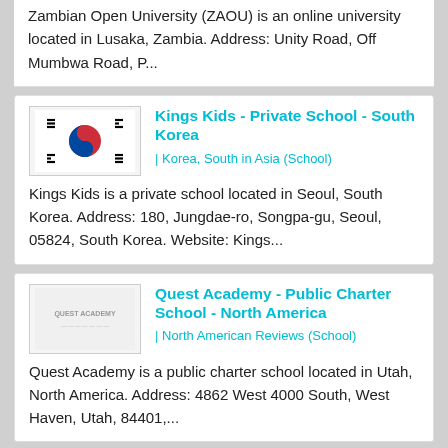Zambian Open University (ZAOU) is an online university located in Lusaka, Zambia. Address: Unity Road, Off Mumbwa Road, P...
Kings Kids - Private School - South Korea
| Korea, South in Asia (School)
[Figure (illustration): South Korean flag (Taegukgi) - circular red and blue taeguk symbol with black trigrams on white background]
Kings Kids is a private school located in Seoul, South Korea. Address: 180, Jungdae-ro, Songpa-gu, Seoul, 05824, South Korea. Website: Kings...
Quest Academy - Public Charter School - North America
| North American Reviews (School)
[Figure (logo): Quest Academy logo - grey/silver text logo on white background]
Quest Academy is a public charter school located in Utah, North America. Address: 4862 West 4000 South, West Haven, Utah, 84401,...